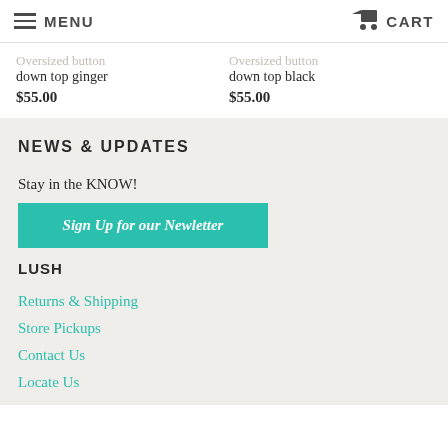MENU  CART
down top ginger
$55.00
down top black
$55.00
NEWS & UPDATES
Stay in the KNOW!
Sign Up for our Newletter
LUSH
Returns & Shipping
Store Pickups
Contact Us
Locate Us